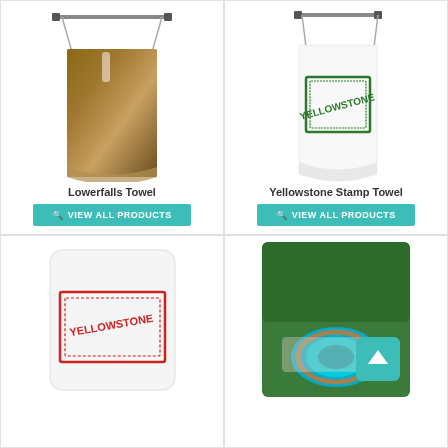[Figure (photo): Lowerfalls Towel product image - towel hanging on a rod showing canyon/waterfall photograph]
Lowerfalls Towel
[Figure (other): VIEW ALL PRODUCTS button - teal]
[Figure (photo): Yellowstone Stamp Towel product image - white towel with green YELLOWSTONE stamp]
Yellowstone Stamp Towel
[Figure (other): VIEW ALL PRODUCTS button - teal]
[Figure (photo): Product image - rug or mat with red YELLOWSTONE stamp]
[Figure (photo): Aerial view of Yellowstone with Grand Prismatic Spring, with teal scroll-to-top button overlay]